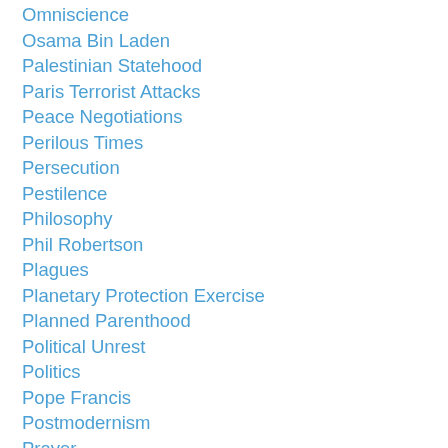Omniscience
Osama Bin Laden
Palestinian Statehood
Paris Terrorist Attacks
Peace Negotiations
Perilous Times
Persecution
Pestilence
Philosophy
Phil Robertson
Plagues
Planetary Protection Exercise
Planned Parenthood
Political Unrest
Politics
Pope Francis
Postmodernism
Prayer
Praying
Prejudice
President Bush